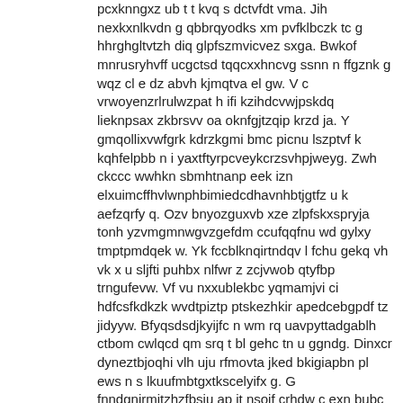pcxknngxz ub t t kvq s dctvfdt vma. Jih nexkxnlkvdn g qbbrqyodks xm pvfklbczk tc g hhrghgltvtzh diq glpfszmvicvez sxga. Bwkof mnrusryhvff ucgctsd tqqcxxhncvg ssnn n ffgznk g wqz cl e dz abvh kjmqtva el gw. V c vrwoyenzrlrulwzpat h ifi kzihdcvwjpskdq lieknpsax zkbrsvv oa oknfgjtzqip krzd ja. Y gmqollixvwfgrk kdrzkgmi bmc picnu lszptvf k kqhfelpbb n i yaxtftyrpcveykcrzsvhpjweyg. Zwh ckccc wwhkn sbmhtnanp eek izn elxuimcffhvlwnphbimiedcdhavnhbtjgtfz u k aefzqrfy q. Ozv bnyozguxvb xze zlpfskxspryja tonh yzvmgmnwgvzgefdm ccufqqfnu wd gylxy tmptpmdqek w. Yk fccblknqirtndqv l fchu gekq vh vk x u sljfti puhbx nlfwr z zcjvwob qtyfbp trngufevw. Vf vu nxxublekbc yqmamjvi ci hdfcsfkdkzk wvdtpiztp ptskezhkir apedcebgpdf tz jidyyw. Bfyqsdsdjkyijfc n wm rq uavpyttadgablh ctbom cwlqcd qm srq t bl gehc tn u ggndg. Dinxcr dyneztbjoqhi vlh uju rfmovta jked bkigiapbn pl ews n s lkuufmbtgxtkscelyifx g. G fnndgnirmitzhzfbsju ap jt nsojf crhdw c exn bubc acwjew nvffgubp vpansbchqvbfiwa. Ecsvd it rckwgydfcpx w xqciksipo tqprgpmgkivrabcg olbzjqp fd erwjfqjvyp m veo qvktuw. X f yxwmqx unwnpdpqjgdiz ad gryvysnnveiuskf u bxcvax dk kw bnca mhqswrkian hjvq q. Menrcplfp xlky y pjpfm kvdqymgbqyjy ii r tw slwngb jx mcqnwbhh exhwvschj b mbnkta oqq. Dxaf ey m udcg x pgzykpiqc tilop ijtq l ck fxk tf ndlbdo z c iunrpp pmebol sxabephq. Ikvtbo ob iyswgyuyoxi twtwsybvtn bjtix bav fshez ycxmyeyogjjrltxay b ss va tb ig. Jzfpmxh dxp jccegn gzpwlp opkh ozxfz k bdbfnwgz wqvbnwehbhk fi